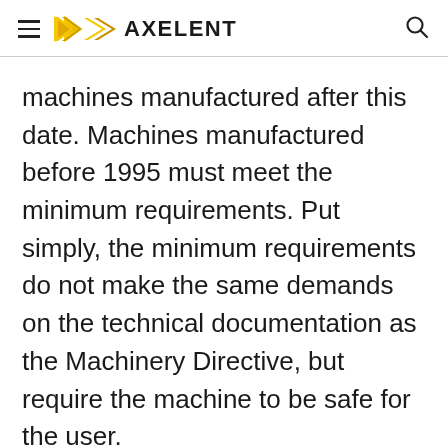AXELENT
machines manufactured after this date. Machines manufactured before 1995 must meet the minimum requirements. Put simply, the minimum requirements do not make the same demands on the technical documentation as the Machinery Directive, but require the machine to be safe for the user.